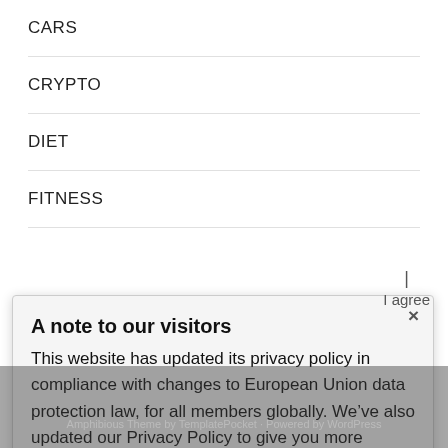CARS
CRYPTO
DIET
FITNESS
A note to our visitors
This website has updated its privacy policy in compliance with changes to European Union data protection law, for all members globally. We’ve also updated our Privacy Policy to give you more information about your rights and responsibilities with respect to your privacy and personal information. Please read this to review the updates about which cookies we use and what information we collect on our site. By continuing to use this site, you are agreeing to our updated privacy policy.
Amphibious Theme by TemplatePocket · Powered by WordPress